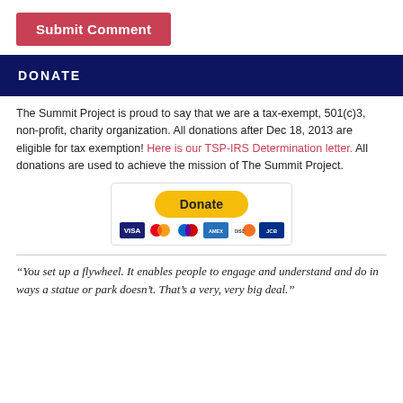Submit Comment
DONATE
The Summit Project is proud to say that we are a tax-exempt, 501(c)3, non-profit, charity organization. All donations after Dec 18, 2013 are eligible for tax exemption! Here is our TSP-IRS Determination letter. All donations are used to achieve the mission of The Summit Project.
[Figure (other): PayPal Donate button with payment card icons (Visa, Mastercard, Maestro, American Express, Discover, JCB)]
“You set up a flywheel. It enables people to engage and understand and do in ways a statue or park doesn’t. That’s a very, very big deal.”